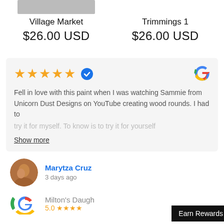[Figure (photo): Partial product image thumbnail at top of page, cropped]
Village Market
$26.00 USD
Trimmings 1
$26.00 USD
Fell in love with this paint when I was watching Sammie from Unicorn Dust Designs on YouTube creating wood rounds. I had to try it for myself. To know is to try it for yourself
Show more
Marytza Cruz
3 days ago
[Figure (logo): Google G logo at bottom]
Milton's Daugh
5.0 ★★★★
Earn Rewards